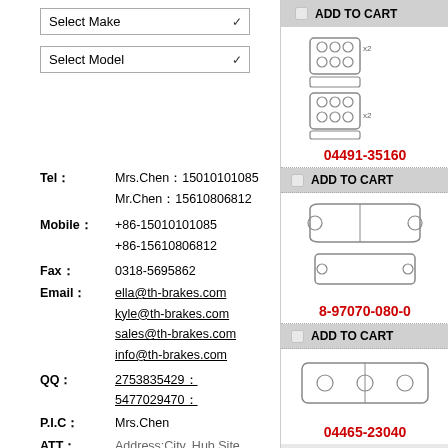Select Make (dropdown)
Select Model (dropdown)
Tel：Mrs.Chen：15010101085  Mr.Chen：15610806812
Mobile：+86-15010101085  +86-15610806812
Fax：0318-5695862
Email：ella@th-brakes.com  kyle@th-brakes.com  sales@th-brakes.com  info@th-brakes.com
QQ：2753835429：5477029470
P.I.C：Mrs.Chen
[Figure (illustration): Brake pad set product image for 04491-35160]
04491-35160
ADD TO CART
[Figure (illustration): Brake pad set product image for 8-97070-080-0]
8-97070-080-0
ADD TO CART
[Figure (illustration): Brake pad set product image for 04465-23040]
04465-23040